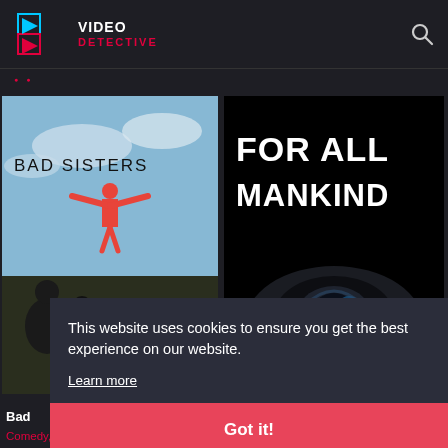VIDEO DETECTIVE
[Figure (screenshot): Bad Sisters TV show poster with woman in red arms outstretched against blue sky, and people below]
[Figure (screenshot): For All Mankind TV show poster with white bold text on black background and camera/helmet below]
This website uses cookies to ensure you get the best experience on our website.
Learn more
Got it!
Bad
Comedy, Thriller
Drama, Sci-Fi